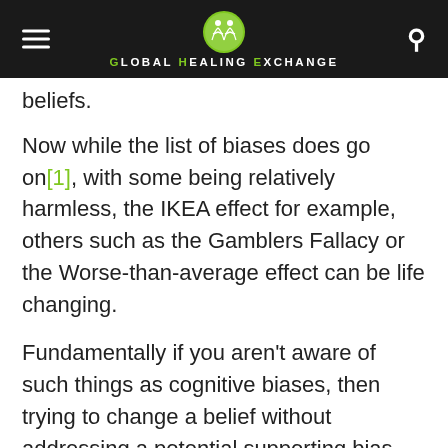Global Healing Exchange
beliefs.
Now while the list of biases does go on[1], with some being relatively harmless, the IKEA effect for example, others such as the Gamblers Fallacy or the Worse-than-average effect can be life changing.
Fundamentally if you aren't aware of such things as cognitive biases, then trying to change a belief without addressing a potential supporting bias would be like trying to fix a leak in a water pipe without knowing where the leak was.